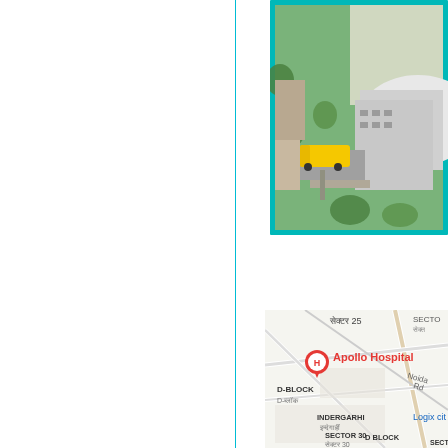[Figure (photo): Aerial view of Apollo Hospital building with a yellow school bus on a road, surrounded by green trees, teal border frame]
[Figure (map): Google Maps screenshot showing Apollo Hospital location in Sector 25, Noida, with surrounding areas D-Block, Indergarhi, Sector 30, Noida Rd, and partial text Logix City]